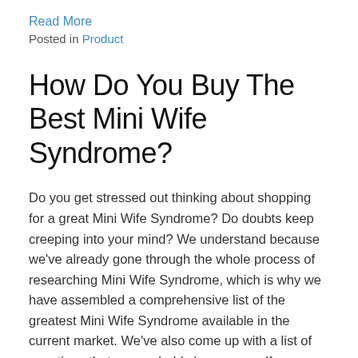Read More
Posted in Product
How Do You Buy The Best Mini Wife Syndrome?
Do you get stressed out thinking about shopping for a great Mini Wife Syndrome? Do doubts keep creeping into your mind? We understand because we've already gone through the whole process of researching Mini Wife Syndrome, which is why we have assembled a comprehensive list of the greatest Mini Wife Syndrome available in the current market. We've also come up with a list of questions that you probably have yourself.